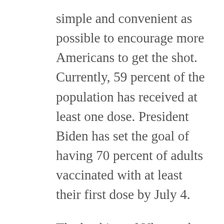simple and convenient as possible to encourage more Americans to get the shot. Currently, 59 percent of the population has received at least one dose. President Biden has set the goal of having 70 percent of adults vaccinated with at least their first dose by July 4.
The backing of Uber and Lyft is partly because the federal government is trying to reach unvaccinated persons by shifting away from mass vaccination centers and targeting distribution toward retail pharmacies, doctor's offices, and mobile vaccination units.